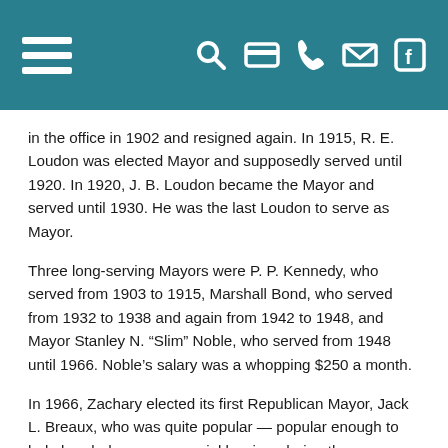Navigation header bar with hamburger menu and icons for search, card, phone, email, Facebook
in the office in 1902 and resigned again. In 1915, R. E. Loudon was elected Mayor and supposedly served until 1920. In 1920, J. B. Loudon became the Mayor and served until 1930. He was the last Loudon to serve as Mayor.
Three long-serving Mayors were P. P. Kennedy, who served from 1903 to 1915, Marshall Bond, who served from 1932 to 1938 and again from 1942 to 1948, and Mayor Stanley N. “Slim” Noble, who served from 1948 until 1966. Noble’s salary was a whopping $250 a month.
In 1966, Zachary elected its first Republican Mayor, Jack L. Breaux, who was quite popular — popular enough to help break down some racial barriers during the integration of the school system. Jack Breaux was, in fact, one of the first Republican elected officials in Louisiana and one of the first Republican Mayors in Louisiana since Reconstruction.